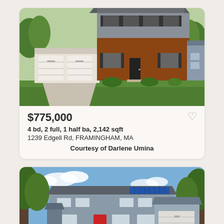[Figure (photo): Exterior photo of a two-story colonial home with brick facade, gray siding, two-car garage, and landscaped front yard]
$775,000
4 bd, 2 full, 1 half ba, 2,142 sqft
1239 Edgell Rd, FRAMINGHAM, MA
Courtesy of Darlene Umina
[Figure (photo): Exterior photo of a two-story gray colonial home with red front door, attached garage, solar panels on roof, and large green lawn]